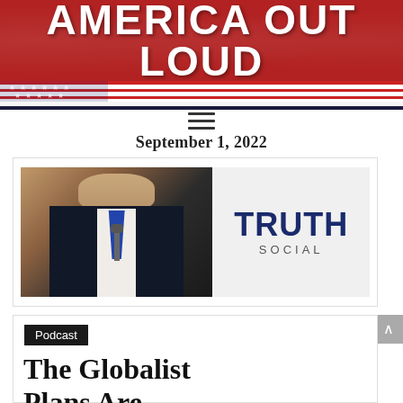AMERICA OUT LOUD
September 1, 2022
[Figure (photo): Photo of a man in a dark suit at a microphone next to a Truth Social logo on a white background]
Podcast
The Globalist Plans Are